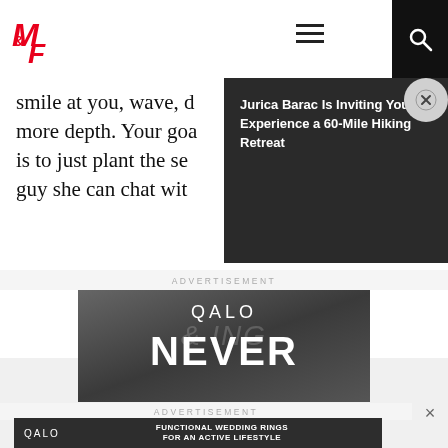M&F logo navigation bar with hamburger menu and search icon
smile at you, wave, d... more depth. Your goa... is to just plant the se... guy she can chat wit...
[Figure (screenshot): Notification popup: Jurica Barac Is Inviting You to Experience a 60-Mile Hiking Retreat]
ADVERTISEMENT
[Figure (photo): QALO brand advertisement showing a dark silicone ring with text QALO and NEVER]
ADVERTISEMENT
[Figure (screenshot): QALO bottom ad banner: FUNCTIONAL WEDDING RINGS FOR AN ACTIVE LIFESTYLE]